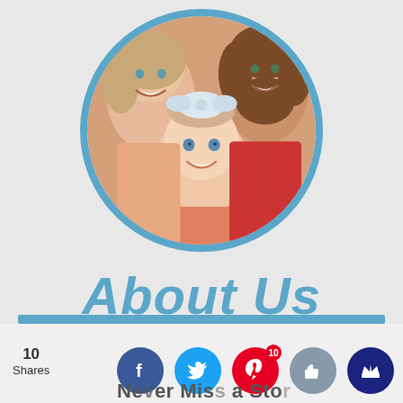[Figure (photo): Circular profile photo with blue border showing a woman, a man with a beard, and a baby with a white bow headband, all smiling]
About Us
[Figure (infographic): Social sharing bar at the bottom with share count of 10 Shares, Facebook icon (blue), Twitter icon (light blue), Pinterest icon (red) with badge showing 10, thumbs up icon (gray-blue), and crown icon (dark blue). Text partially visible: 'Never Miss a Story']